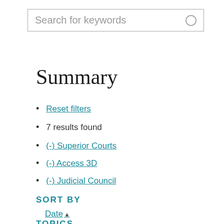Search for keywords
Summary
Reset filters
7 results found
(-) Superior Courts
(-) Access 3D
(-) Judicial Council
SORT BY
Date ▲
TOPICS